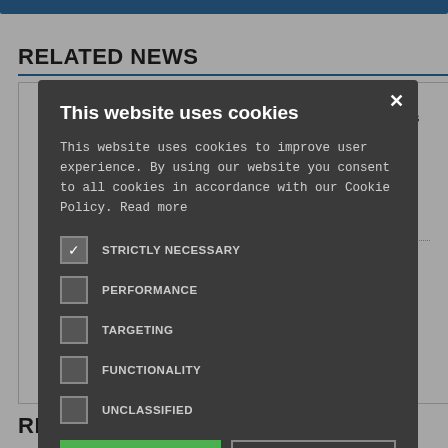RELATED NEWS
s of balloting its
ster title
s ...
nurses'
[Figure (screenshot): Cookie consent modal dialog on a dark background overlay. Title: 'This website uses cookies'. Body text explains cookie usage and references Cookie Policy with a 'Read more' link. Five checkbox options: STRICTLY NECESSARY (checked), PERFORMANCE (unchecked), TARGETING (unchecked), FUNCTIONALITY (unchecked), UNCLASSIFIED (unchecked). Two buttons: ACCEPT ALL (green) and DECLINE ALL (outlined). A gear icon with SHOW DETAILS link at the bottom.]
RELATED PROFESSIONAL